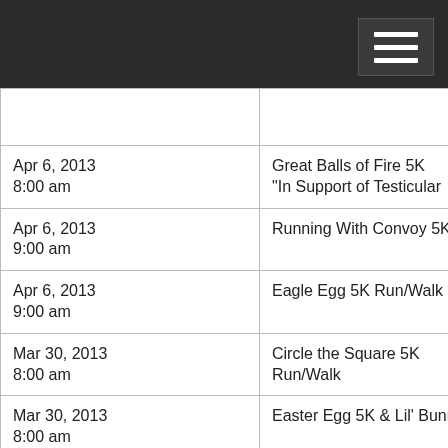|  |  |
| Apr 6, 2013
8:00 am | Great Balls of Fire 5K
"In Support of Testicular |
| Apr 6, 2013
9:00 am | Running With Convoy 5K |
| Apr 6, 2013
9:00 am | Eagle Egg 5K Run/Walk |
| Mar 30, 2013
8:00 am | Circle the Square 5K Run/Walk |
| Mar 30, 2013
8:00 am | Easter Egg 5K & Lil' Bunny |